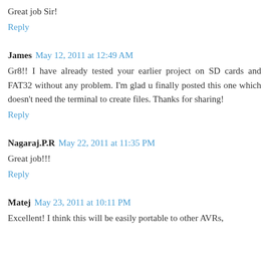Great job Sir!
Reply
James  May 12, 2011 at 12:49 AM
Gr8!! I have already tested your earlier project on SD cards and FAT32 without any problem. I'm glad u finally posted this one which doesn't need the terminal to create files. Thanks for sharing!
Reply
Nagaraj.P.R  May 22, 2011 at 11:35 PM
Great job!!!
Reply
Matej  May 23, 2011 at 10:11 PM
Excellent! I think this will be easily portable to other AVRs,